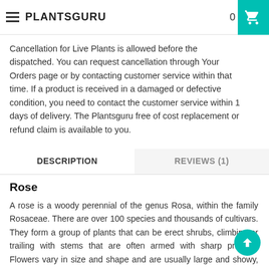PLANTSGURU  0
Cancellation for Live Plants is allowed before the dispatched. You can request cancellation through Your Orders page or by contacting customer service within that time. If a product is received in a damaged or defective condition, you need to contact the customer service within 1 days of delivery. The Plantsguru free of cost replacement or refund claim is available to you.
DESCRIPTION   REVIEWS (1)
Rose
A rose is a woody perennial of the genus Rosa, within the family Rosaceae. There are over 100 species and thousands of cultivars. They form a group of plants that can be erect shrubs, climbing or trailing with stems that are often armed with sharp prickles. Flowers vary in size and shape and are usually large and showy, in colours ranging from white through yellows and reds. Most species are native to Asia, with smaller numbers native to Europe, North America, and northwest Africa. Species, cultivars and hybrids are all widely grown for